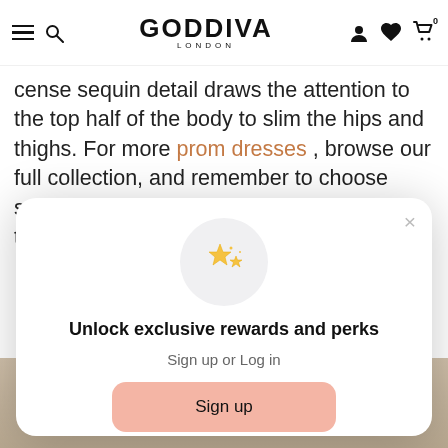GODDIVA LONDON — navigation header with hamburger, search, account, wishlist, cart icons
cense sequin detail draws the attention to the top half of the body to slim the hips and thighs. For more prom dresses , browse our full collection, and remember to choose something that you feel confident in and that truly reflects your personality.
[Figure (screenshot): Modal popup: sparkle stars icon in grey circle, title 'Unlock exclusive rewards and perks', subtitle 'Sign up or Log in', pink 'Sign up' button, footer 'Already have an account? Sign in']